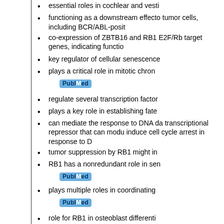essential roles in cochlear and vesti
functioning as a downstream effecto tumor cells, including BCR/ABL-posit
co-expression of ZBTB16 and RB1 E2F/Rb target genes, indicating functio
key regulator of cellular senescence
plays a critical role in mitotic chron
[Figure (logo): PubMed logo button]
regulate several transcription factor
plays a key role in establishing fate
can mediate the response to DNA da transcriptional repressor that can modu induce cell cycle arrest in response to D
tumor suppression by RB1 might in
RB1 has a nonredundant role in sen
[Figure (logo): PubMed logo button]
plays multiple roles in coordinating
[Figure (logo): PubMed logo button]
role for RB1 in osteoblast differenti
overlapping role for RB1 and RB1